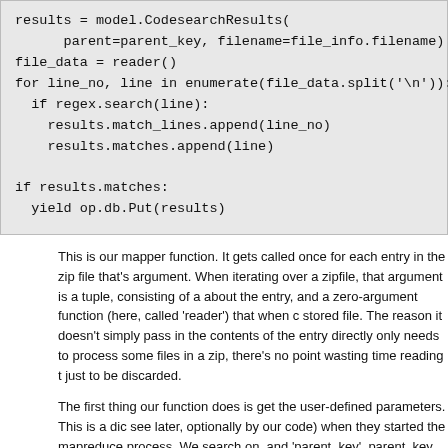[Figure (screenshot): Code block showing Python code for a mapper function using model.CodesearchResults, file reading, regex matching, and yielding db.Put results.]
This is our mapper function. It gets called once for each entry in the zip file that's argument. When iterating over a zipfile, that argument is a tuple, consisting of a about the entry, and a zero-argument function (here, called 'reader') that when c stored file. The reason it doesn't simply pass in the contents of the entry directly only needs to process some files in a zip, there's no point wasting time reading t just to be discarded.
The first thing our function does is get the user-defined parameters. This is a dic see later, optionally by our code) when they started the mapreduce process. We search on, and 'parent_key'. parent_key provides the key of the entity under whi
Next up, we check the length of the file. If it's empty, we skip it. The main reason entries, and this is the easiest way to skip over directories, since we don't care